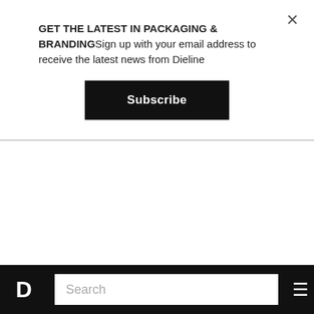GET THE LATEST IN PACKAGING & BRANDINGSign up with your email address to receive the latest news from Dieline
Subscribe
throw me in the mix as well.It's one thing to raise awareness, it's another thing to commit yourself entirely. I don't like to fail, let alone publish my failures for all to read, and I knew going into this that I was in for a whole lot of unintentional fasting.I conducted my research, documented the amount of single-use plastic I used daily, and discovered a majority of it was beauty and
D  Search  ☰